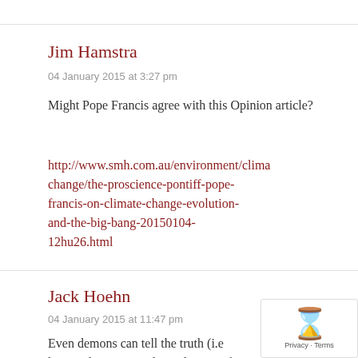Jim Hamstra
04 January 2015 at 3:27 pm
Might Pope Francis agree with this Opinion article?
http://www.smh.com.au/environment/climate-change/the-proscience-pontiff-pope-francis-on-climate-change-evolution-and-the-big-bang-20150104-12hu26.html
Jack Hoehn
04 January 2015 at 11:47 pm
Even demons can tell the truth (i.e. we know who you are, the Holy One of